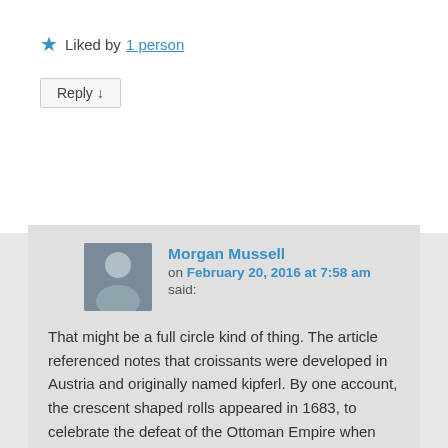★ Liked by 1 person
Reply ↓
Morgan Mussell on February 20, 2016 at 7:58 am said:
That might be a full circle kind of thing. The article referenced notes that croissants were developed in Austria and originally named kipferl. By one account, the crescent shaped rolls appeared in 1683, to celebrate the defeat of the Ottoman Empire when the siege of Vienna was lifted. Others date kipferl to the 13th c.
Supposedly an Austrian artilleryman opened the Boulangerie Viennese in 1830 in Paris and they caught on. The motive